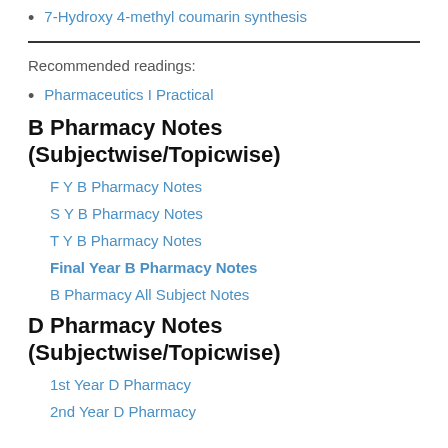7-Hydroxy 4-methyl coumarin synthesis
Recommended readings:
Pharmaceutics I Practical
B Pharmacy Notes (Subjectwise/Topicwise)
F Y B Pharmacy Notes
S Y B Pharmacy Notes
T Y B Pharmacy Notes
Final Year B Pharmacy Notes
B Pharmacy All Subject Notes
D Pharmacy Notes (Subjectwise/Topicwise)
1st Year D Pharmacy
2nd Year D Pharmacy